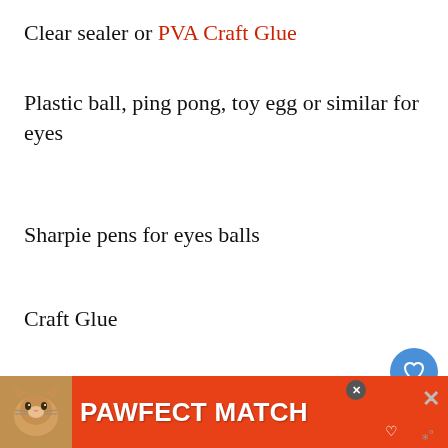Clear sealer or PVA Craft Glue
Plastic ball, ping pong, toy egg or similar for eyes
Sharpie pens for eyes balls
Craft Glue
Hot glue gun
Instructions
This amazing DIY craft idea comes from Thead. Thanks for sharing your creation Melissa, we
[Figure (other): Blue circular heart/favorite button icon]
[Figure (other): Share button icon (grey circle with share symbol)]
[Figure (other): What's Next panel showing Nail Polish Seashells with decorative circular thumbnail]
[Figure (other): PAWFECT MATCH advertisement banner with cat photo on orange/red background]